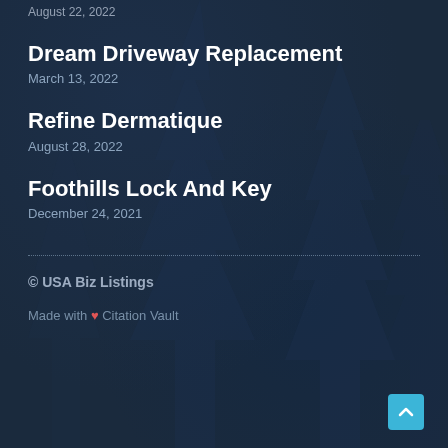August 22, 2022
Dream Driveway Replacement
March 13, 2022
Refine Dermatique
August 28, 2022
Foothills Lock And Key
December 24, 2021
© USA Biz Listings
Made with ❤ Citation Vault